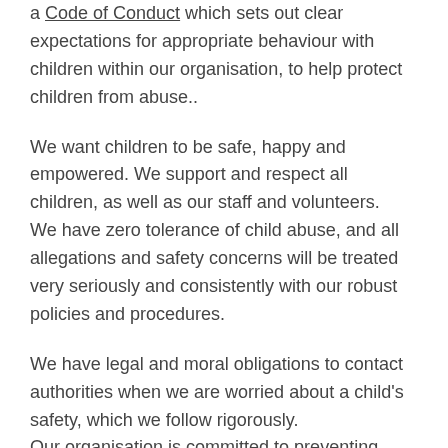a Code of Conduct which sets out clear expectations for appropriate behaviour with children within our organisation, to help protect children from abuse..
We want children to be safe, happy and empowered. We support and respect all children, as well as our staff and volunteers.
We have zero tolerance of child abuse, and all allegations and safety concerns will be treated very seriously and consistently with our robust policies and procedures.
We have legal and moral obligations to contact authorities when we are worried about a child's safety, which we follow rigorously.
Our organisation is committed to preventing child abuse and identifying risks early, and removing and reducing